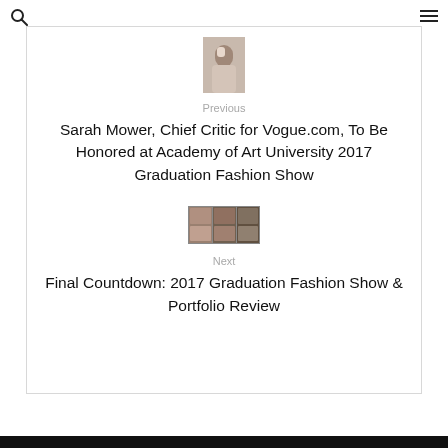[Figure (photo): Small thumbnail portrait of a woman in light clothing]
Previous
Sarah Mower, Chief Critic for Vogue.com, To Be Honored at Academy of Art University 2017 Graduation Fashion Show
[Figure (photo): Small collage thumbnail image showing fashion show photos]
Next
Final Countdown: 2017 Graduation Fashion Show & Portfolio Review